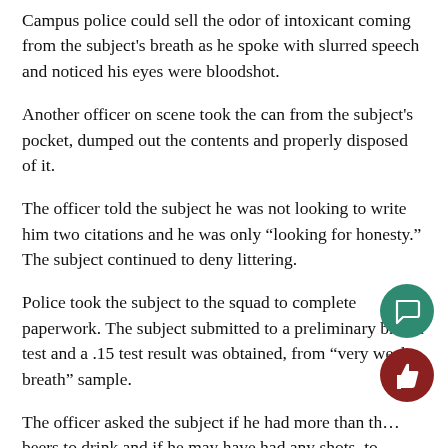Campus police could sell the odor of intoxicant coming from the subject's breath as he spoke with slurred speech and noticed his eyes were bloodshot.
Another officer on scene took the can from the subject's pocket, dumped out the contents and properly disposed of it.
The officer told the subject he was not looking to write him two citations and he was only “looking for honesty.” The subject continued to deny littering.
Police took the subject to the squad to complete paperwork. The subject submitted to a preliminary breath test and a .15 test result was obtained, from “very weak breath” sample.
The officer asked the subject if he had more than th… beers to drink and if he may have had any shots, to…